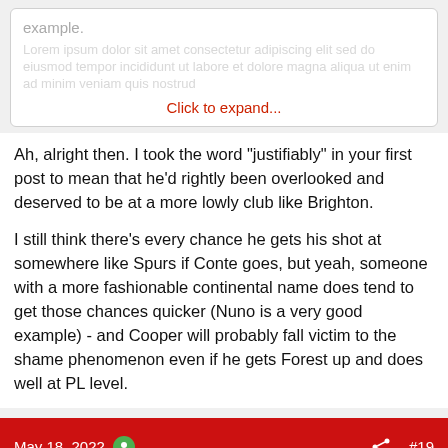example.
Click to expand...
Ah, alright then. I took the word "justifiably" in your first post to mean that he'd rightly been overlooked and deserved to be at a more lowly club like Brighton.

I still think there's every chance he gets his shot at somewhere like Spurs if Conte goes, but yeah, someone with a more fashionable continental name does tend to get those chances quicker (Nuno is a very good example) - and Cooper will probably fall victim to the shame phenomenon even if he gets Forest up and does well at PL level.
May 18, 2022  #19
marktan
Full Member